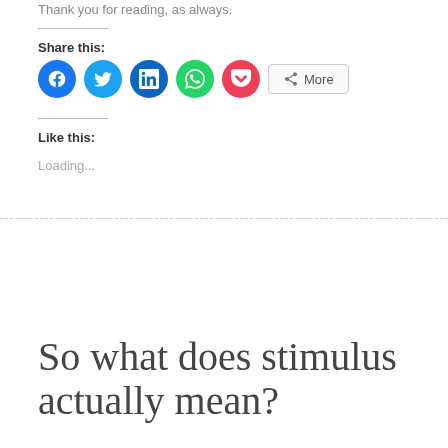Thank you for reading, as always.
Share this:
[Figure (other): Social sharing buttons: Facebook, Twitter, LinkedIn, WhatsApp, Pocket, and a More button]
Like this:
Loading...
So what does stimulus actually mean?